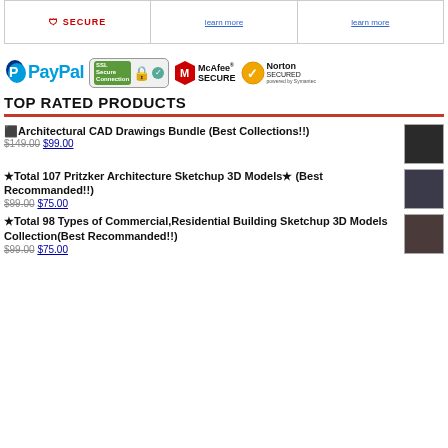[Figure (other): Top bar with SECURE badge and two 'learn more' links in a 3-column bordered box]
[Figure (other): Payment and security logos: PayPal, SSL Secure Connection, McAfee SECURE, Norton SECURED powered by Symantec]
TOP RATED PRODUCTS
★Architectural CAD Drawings Bundle (Best Collections!!) $149.00 $99.00
★Total 107 Pritzker Architecture Sketchup 3D Models★ (Best Recommanded!!) $99.00 $75.00
★Total 98 Types of Commercial,Residential Building Sketchup 3D Models Collection(Best Recommanded!!) $99.00 $75.00